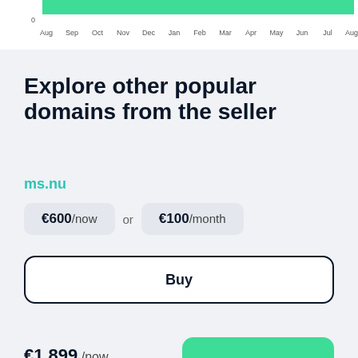[Figure (area-chart): Traffic chart]
Explore other popular domains from the seller
ms.nu
€600/now or €100/month
Buy
€1,899 /now €100 /month
Buy